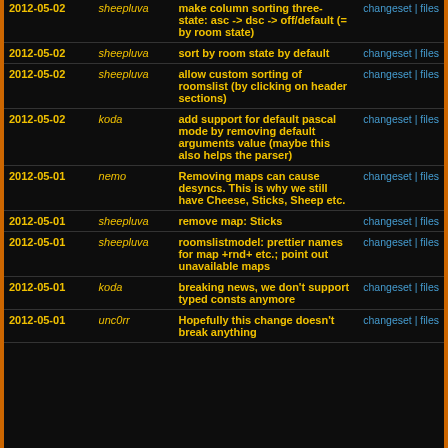| Date | Author | Message | Links |
| --- | --- | --- | --- |
| 2012-05-02 | sheepluva | make column sorting three-state: asc -> dsc -> off/default (= by room state) | changeset | files |
| 2012-05-02 | sheepluva | sort by room state by default | changeset | files |
| 2012-05-02 | sheepluva | allow custom sorting of roomslist (by clicking on header sections) | changeset | files |
| 2012-05-02 | koda | add support for default pascal mode by removing default arguments value (maybe this also helps the parser) | changeset | files |
| 2012-05-01 | nemo | Removing maps can cause desyncs. This is why we still have Cheese, Sticks, Sheep etc. | changeset | files |
| 2012-05-01 | sheepluva | remove map: Sticks | changeset | files |
| 2012-05-01 | sheepluva | roomslistmodel: prettier names for map +rnd+ etc.; point out unavailable maps | changeset | files |
| 2012-05-01 | koda | breaking news, we don't support typed consts anymore | changeset | files |
| 2012-05-01 | unc0rr | Hopefully this change doesn't break anything | changeset | files |